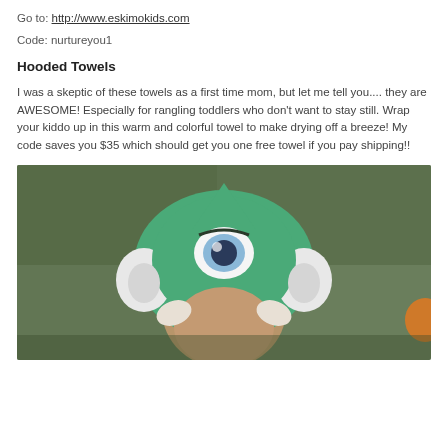Go to: http://www.eskimokids.com
Code: nurtureyou1
Hooded Towels
I was a skeptic of these towels as a first time mom, but let me tell you.... they are AWESOME! Especially for rangling toddlers who don't want to stay still. Wrap your kiddo up in this warm and colorful towel to make drying off a breeze! My code saves you $35 which should get you one free towel if you pay shipping!!
[Figure (photo): Child wearing a green monster/alien hooded towel with white horns and a large eye, photographed outdoors with blurred green foliage in background and orange element visible at right edge.]